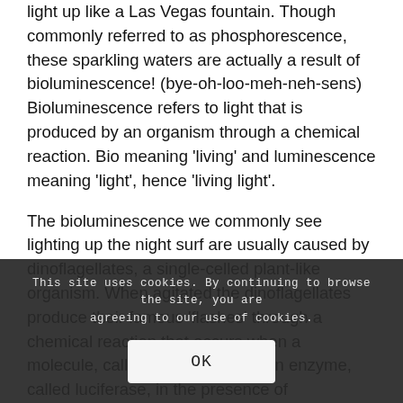light up like a Las Vegas fountain. Though commonly referred to as phosphorescence, these sparkling waters are actually a result of bioluminescence! (bye-oh-loo-meh-neh-sens) Bioluminescence refers to light that is produced by an organism through a chemical reaction. Bio meaning 'living' and luminescence meaning 'light', hence 'living light'.
The bioluminescence we commonly see lighting up the night surf are usually caused by dinoflagellates, a single-celled plant-like organism. When agitated the dinoflagellates produce their famous 'flashes' through a chemical reaction that occurs when a molecule, called lu... mixed with an enzyme, called luciferase, in the presence of
This site uses cookies. By continuing to browse the site, you are agreeing to our use of cookies.
OK